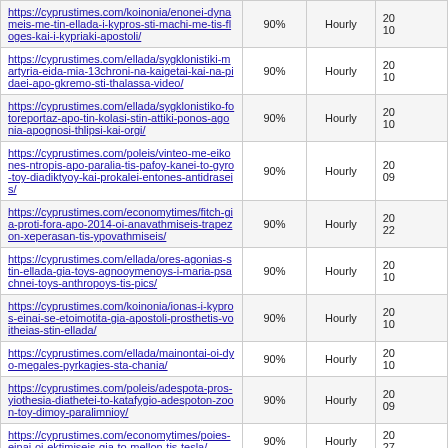| URL | Priority | Change Freq | Last Modified |
| --- | --- | --- | --- |
| https://cyprustimes.com/koinonia/enonei-dynameis-me-tin-ellada-i-kypros-sti-machi-me-tis-floges-kai-i-kypriaki-apostoli/ | 90% | Hourly | 20
10 |
| https://cyprustimes.com/ellada/sygklonistiki-martyria-eida-mia-13chroni-na-kaigetai-kai-na-pidaei-apo-gkremo-sti-thalassa-video/ | 90% | Hourly | 20
10 |
| https://cyprustimes.com/ellada/sygklonistiko-fotoreportaz-apo-tin-kolasi-stin-attiki-ponos-agonia-apognosi-thlipsi-kai-orgi/ | 90% | Hourly | 20
10 |
| https://cyprustimes.com/poleis/vinteo-me-eikones-ntropis-apo-paralia-tis-pafoy-kanei-to-gyro-toy-diadiktyoy-kai-prokalei-entones-antidraseis/ | 90% | Hourly | 20
09 |
| https://cyprustimes.com/economytimes/fitch-gia-proti-fora-apo-2014-oi-anavathmiseis-trapezon-xeperasan-tis-ypovathmiseis/ | 90% | Hourly | 20
22 |
| https://cyprustimes.com/ellada/ores-agonias-stin-ellada-gia-toys-agnooymenoys-i-maria-psachnei-toys-anthropoys-tis-pics/ | 90% | Hourly | 20
10 |
| https://cyprustimes.com/koinonia/ionas-i-kypros-einai-se-etoimotita-gia-apostoli-prosthetis-voitheias-stin-ellada/ | 90% | Hourly | 20
10 |
| https://cyprustimes.com/ellada/mainontai-oi-dyo-megales-pyrkagies-sta-chania/ | 90% | Hourly | 20
10 |
| https://cyprustimes.com/poleis/adespota-pros-yiothesia-diathetei-to-katafygio-adespoton-zoon-toy-dimoy-paralimnioy/ | 90% | Hourly | 20
09 |
| https://cyprustimes.com/economytimes/poies-einai-oi-ektimiseis-gia-to-mellon-tis-tesla/ | 90% | Hourly | 20
27 |